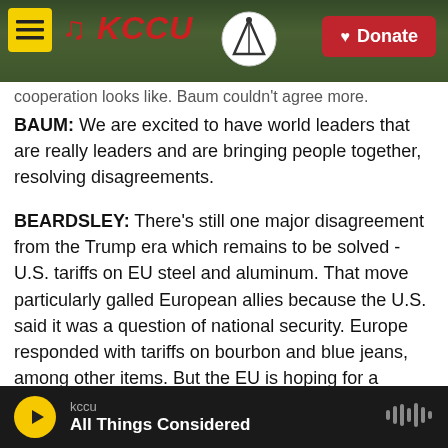[Figure (screenshot): KCCU radio station website header with logo, yellow hamburger menu icon, KCCU red italic text logo, a circular emblem, and a red Donate button with heart icon. Background shows outdoor photo.]
cooperation looks like. Baum couldn't agree more.
BAUM: We are excited to have world leaders that are really leaders and are bringing people together, resolving disagreements.
BEARDSLEY: There's still one major disagreement from the Trump era which remains to be solved - U.S. tariffs on EU steel and aluminum. That move particularly galled European allies because the U.S. said it was a question of national security. Europe responded with tariffs on bourbon and blue jeans, among other items. But the EU is hoping for a settlement by December, when it's also hoped
kccu
All Things Considered